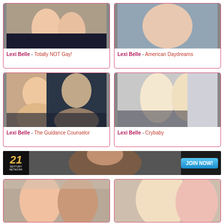[Figure (photo): Top-left card: photo placeholder (cropped top), two women]
Lexi Belle - Totally NOT Gay!
[Figure (photo): Top-right card: photo placeholder (cropped top)]
Lexi Belle - American Daydreams
[Figure (photo): Middle-left card: two women on a couch]
Lexi Belle - The Guidance Counselor
[Figure (photo): Middle-right card: two blonde women]
Lexi Belle - Crybaby
[Figure (photo): 21 Sextury Network banner ad with JOIN NOW button]
[Figure (photo): Bottom-left card: two women]
[Figure (photo): Bottom-right card: blonde woman with pink-haired woman]